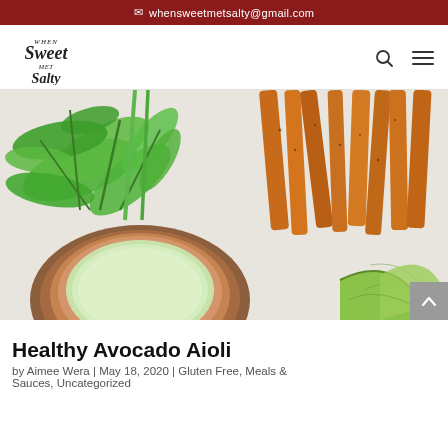whensweetmetsalty@gmail.com
[Figure (logo): When Sweet Met Salty cursive handwritten logo]
[Figure (photo): Overhead photo of cilantro, seasoned sweet potato fries, a wooden bowl with avocado aioli dip, and lime wedges on a light speckled surface]
Healthy Avocado Aioli
by Aimee Wera | May 18, 2020 | Gluten Free, Meals & Sauces, Uncategorized